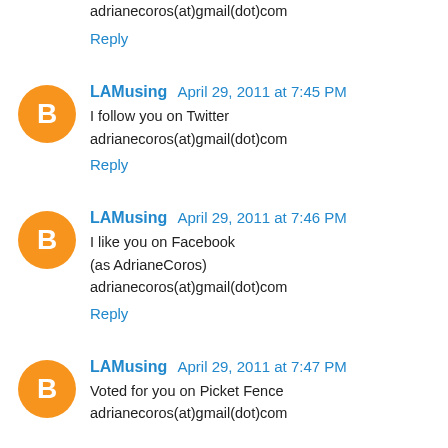adrianecoros(at)gmail(dot)com
Reply
LAMusing  April 29, 2011 at 7:45 PM
I follow you on Twitter
adrianecoros(at)gmail(dot)com
Reply
LAMusing  April 29, 2011 at 7:46 PM
I like you on Facebook
(as AdrianeCoros)
adrianecoros(at)gmail(dot)com
Reply
LAMusing  April 29, 2011 at 7:47 PM
Voted for you on Picket Fence
adrianecoros(at)gmail(dot)com